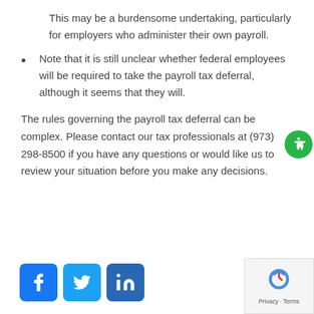This may be a burdensome undertaking, particularly for employers who administer their own payroll.
Note that it is still unclear whether federal employees will be required to take the payroll tax deferral, although it seems that they will.
The rules governing the payroll tax deferral can be complex. Please contact our tax professionals at (973) 298-8500 if you have any questions or would like us to review your situation before you make any decisions.
[Figure (logo): Facebook, Twitter, and LinkedIn social media icons]
[Figure (logo): Accessibility icon (green circle with person symbol)]
[Figure (other): Privacy Terms reCAPTCHA badge]